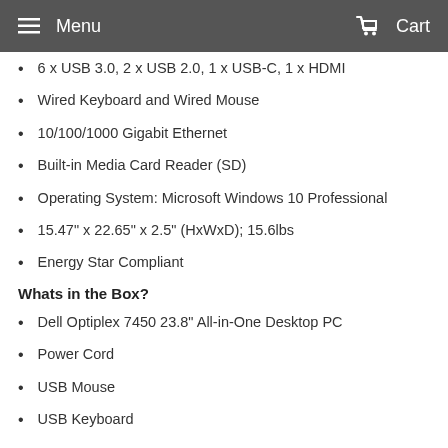Menu   Cart
6 x USB 3.0, 2 x USB 2.0, 1 x USB-C, 1 x HDMI
Wired Keyboard and Wired Mouse
10/100/1000 Gigabit Ethernet
Built-in Media Card Reader (SD)
Operating System: Microsoft Windows 10 Professional
15.47" x 22.65" x 2.5" (HxWxD); 15.6lbs
Energy Star Compliant
Whats in the Box?
Dell Optiplex 7450 23.8" All-in-One Desktop PC
Power Cord
USB Mouse
USB Keyboard